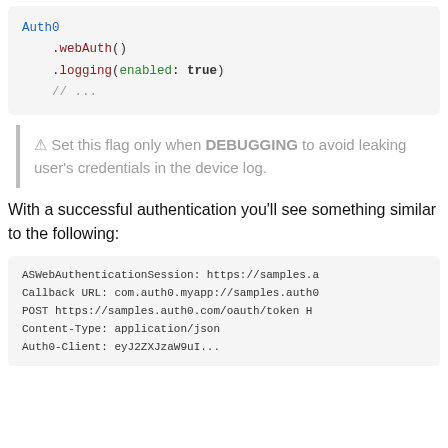[Figure (screenshot): Code block showing Auth0 Swift WebAuth logging configuration]
⚠ Set this flag only when DEBUGGING to avoid leaking user's credentials in the device log.
With a successful authentication you'll see something similar to the following:
[Figure (screenshot): Log output showing ASWebAuthenticationSession URL, Callback URL, POST request, Content-Type, and Auth0-Client headers]